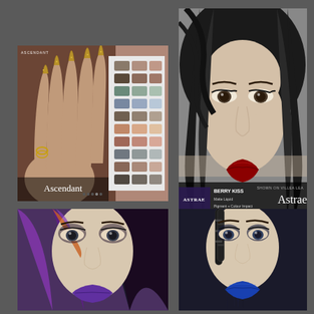[Figure (photo): Digital illustration of long stiletto nails with gold accents on a hand, alongside a color swatch grid showing multiple nail polish colors. Text 'Ascendant' overlaid at bottom.]
[Figure (illustration): Digital art portrait of a woman with black hair, pale skin, and red lips on a grey background. Brand overlay 'Astrae' with 'Berry Kiss' product text and 'SHOWN ON VILLEA LEA' text.]
[Figure (illustration): Digital art close-up of a woman with purple and dark hair, smoky eye makeup, pale skin, and purple lips.]
[Figure (illustration): Digital art close-up of a woman with black and dark blue hair with cylindrical hair accessories, smoky eye makeup, pale skin, and blue lips.]